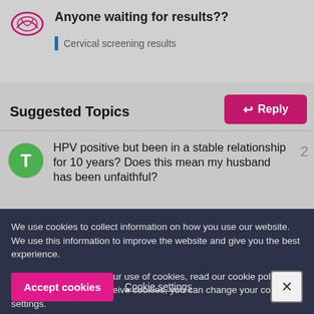Anyone waiting for results?? | Cervical screening results
Suggested Topics
HPV positive but been in a stable relationship for 10 years? Does this mean my husband has been unfaithful?
We use cookies to collect information on how you use our website. We use this information to improve the website and give you the best experience.
To find out more about our use of cookies, read our cookie policy. If you would not like to receive cookies, you can change your cookie settings.